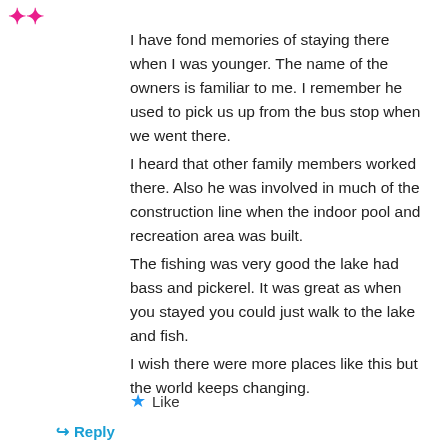[Figure (other): Small pink/magenta icon or avatar symbol in upper-left corner]
I have fond memories of staying there when I was younger. The name of the owners is familiar to me. I remember he used to pick us up from the bus stop when we went there.
I heard that other family members worked there. Also he was involved in much of the construction line when the indoor pool and recreation area was built.
The fishing was very good the lake had bass and pickerel. It was great as when you stayed you could just walk to the lake and fish.
I wish there were more places like this but the world keeps changing.
Like
Reply